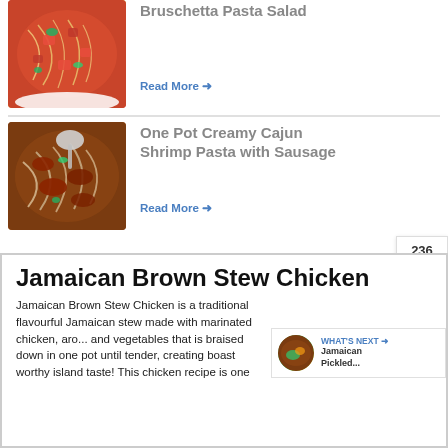[Figure (photo): Bruschetta pasta salad food photo - spaghetti with tomatoes and herbs in a bowl]
Bruschetta Pasta Salad
Read More →
[Figure (photo): One pot creamy cajun shrimp pasta with sausage - noodles and sausage in skillet]
One Pot Creamy Cajun Shrimp Pasta with Sausage
Read More →
Jamaican Brown Stew Chicken
Jamaican Brown Stew Chicken is a traditional flavourful Jamaican stew made with marinated chicken, aro... and vegetables that is braised down in one pot until tender, creating boast worthy island taste! This chicken recipe is one
236
WHAT'S NEXT → Jamaican Pickled...